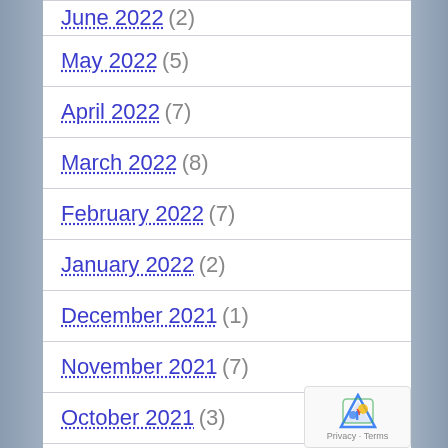June 2022 (2)
May 2022 (5)
April 2022 (7)
March 2022 (8)
February 2022 (7)
January 2022 (2)
December 2021 (1)
November 2021 (7)
October 2021 (3)
September 2021 (8)